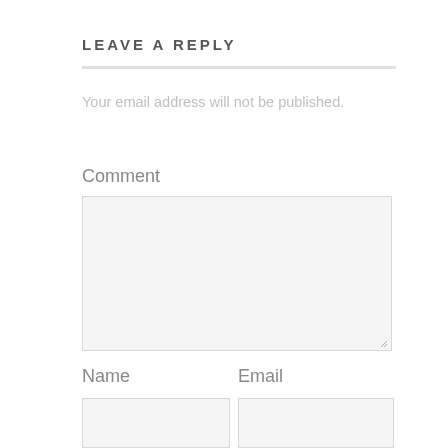LEAVE A REPLY
Your email address will not be published.
Comment
[Figure (other): Comment text area input box, empty, with light gray background and resize handle in bottom-right corner]
Name
Email
[Figure (other): Name text input field, empty, light gray background]
[Figure (other): Email text input field, empty, light gray background]